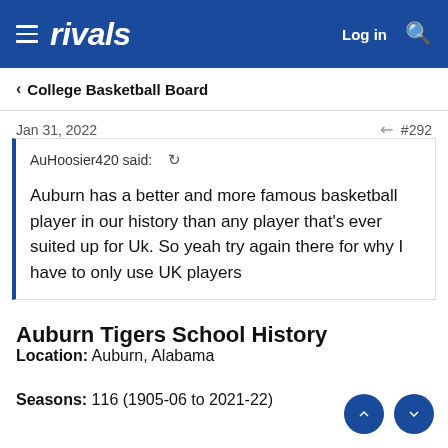rivals — Log in
College Basketball Board
Jan 31, 2022   #292
AuHoosier420 said: Auburn has a better and more famous basketball player in our history than any player that's ever suited up for Uk. So yeah try again there for why I have to only use UK players
Auburn Tigers School History
Location: Auburn, Alabama
Seasons: 116 (1905-06 to 2021-22)